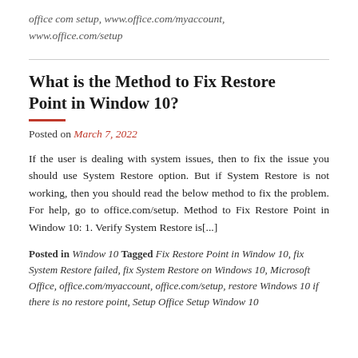office com setup, www.office.com/myaccount, www.office.com/setup
What is the Method to Fix Restore Point in Window 10?
Posted on March 7, 2022
If the user is dealing with system issues, then to fix the issue you should use System Restore option. But if System Restore is not working, then you should read the below method to fix the problem. For help, go to office.com/setup. Method to Fix Restore Point in Window 10: 1. Verify System Restore is[...]
Posted in Window 10 Tagged Fix Restore Point in Window 10, fix System Restore failed, fix System Restore on Windows 10, Microsoft Office, office.com/myaccount, office.com/setup, restore Windows 10 if there is no restore point, Setup Office Setup Window 10